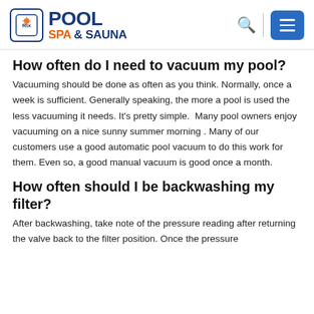Rix Pool Spa & Sauna — navigation header with logo, search icon, and menu button
How often do I need to vacuum my pool?
Vacuuming should be done as often as you think. Normally, once a week is sufficient. Generally speaking, the more a pool is used the less vacuuming it needs. It's pretty simple.  Many pool owners enjoy vacuuming on a nice sunny summer morning . Many of our customers use a good automatic pool vacuum to do this work for them. Even so, a good manual vacuum is good once a month.
How often should I be backwashing my filter?
After backwashing, take note of the pressure reading after returning the valve back to the filter position. Once the pressure